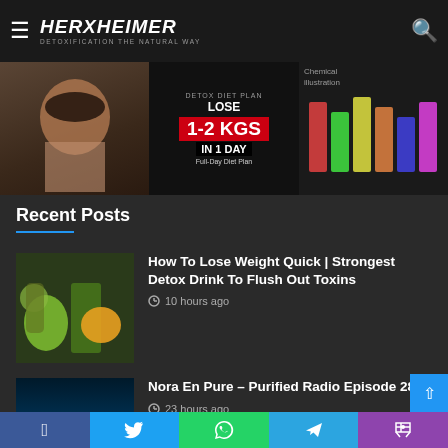HERXHEIMER — DETOXIFICATION THE NATURAL WAY
[Figure (screenshot): Banner carousel with three images: child photo, detox diet plan 1-2 KGS in 1 day, colorful drinks]
Recent Posts
[Figure (photo): Thumbnail of green juice, pineapple, and orange - detox drink]
How To Lose Weight Quick | Strongest Detox Drink To Flush Out Toxins
10 hours ago
[Figure (photo): Thumbnail of underwater scene with purified logo]
Nora En Pure – Purified Radio Episode 286
23 hours ago
[Figure (photo): Thumbnail with detox benefits word cloud and plant]
Cleansing of Thoughts
1 day ago
Facebook Twitter WhatsApp Telegram Phone